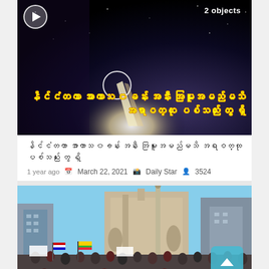[Figure (screenshot): Dark space/night sky video thumbnail with play button, '2 objects' label, white circle highlighting an object, and Burmese language text overlay in yellow with orange stroke]
နိင်ငံတကာ အာကာသ ၀ခန်း အနီး အမြူးအမည်မသိ အရာဝတ္ထု ပစ်သည်း တွေ ရှိ
1 year ago   March 22, 2021   Daily Star   3524
[Figure (photo): Large crowd of protesters gathered at a monument plaza with buildings in background, people holding flags and signs, blue sky, with a teal scroll-to-top button overlaid]